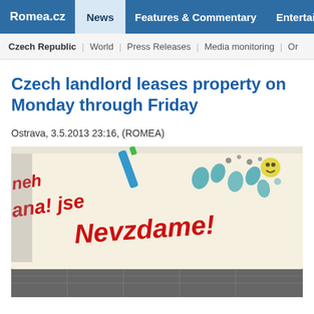Romea.cz | News | Features & Commentary | Entertainment
Czech Republic | World | Press Releases | Media monitoring | Or...
Czech landlord leases property on Monday through Friday
Ostrava, 3.5.2013 23:16, (ROMEA)
[Figure (photo): Photo of a protest banner with handprints and Czech text reading 'Nevzdame!' (We won't give up!)]